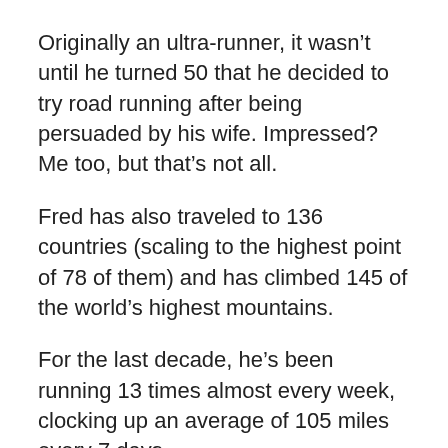Originally an ultra-runner, it wasn’t until he turned 50 that he decided to try road running after being persuaded by his wife. Impressed? Me too, but that’s not all.
Fred has also traveled to 136 countries (scaling to the highest point of 78 of them) and has climbed 145 of the world’s highest mountains.
For the last decade, he’s been running 13 times almost every week, clocking up an average of 105 miles every 7 days.
Not bad for a family man who also works a regular 9-5 job, sometimes pushing 50 hours per week.